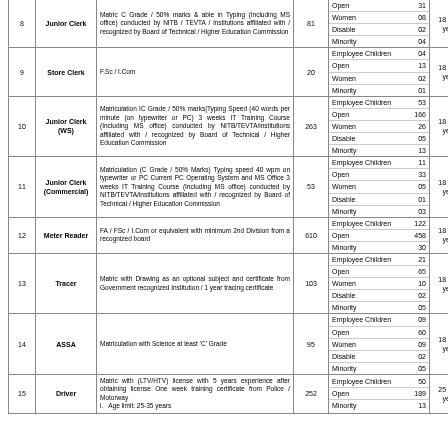| No. | Post | Qualification | Vacancies | Category | Age |
| --- | --- | --- | --- | --- | --- |
| 8 | Junior Clerk | Matric C Grade / 50% marks & able in Typing (Including MS office) conducted by NITB / TEVTA / institutions affiliated with / recognized by Board of Technical / Higher Education Commission | 81 | Open 31 / Women 08 / Disable 02 / Minority 04 | 18 to 30 years |
| 9 | Store Clerk | F.Sc / I.Com | 20 | Employee Children 04 / Open 13 / Women 02 / Minority 01 | 18 to 30 years |
| 10 | Junior Clerk (WS) | Matriculation IC Grade / 50% marks|Typing Speed (40 words per minute (on typewriter or PC) 3 weeks IT Training Course (Including MS office) conducted by NITB/TEVTA/institutions affiliated with / recognized by Board of Technical / Higher Education Commission | 263 | Employee Children 53 / Open 166 / Women 26 / Disable 05 / Minority 13 | 18 to 30 years |
| 11 | Junior Clerk (Commercial) | Matriculation (C Grade / 50% Marks) Typing speed 40 wpm on typewriter or PC Current PC Operating System and MS Office 3 weeks IT Training Course (Including MS office) conducted by NITB/TEVTA/institutions affiliated with / recognized by Board of Technical / Higher Education Commission | 53 | Employee Children 11 / Open 33 / Women 05 / Disable 01 / Minority 03 | 18 to 30 years |
| 12 | Meter Reader | FA / FSc / I.Com or equivalent with minimum 2nd Division from a recognized board | 610 | Employee Children 122 / Open 458 / Minority 30 | 18 to 30 years |
| 13 | Tracer | Matric with Drawing as an optional subject and certificate from Government recognized Institution / 1 year tracing certificate | 103 | Employee Children 21 / Open 65 / Women 10 / Disable 02 / Minority 05 | 18 to 30 years |
| 14 | ASSA | Matriculation with Science at least 'C' Grade | 95 | Employee Children 09 / Open 60 / Women 09 / Disable 02 / Minority 05 | 18 to 30 years |
| 15 | Driver | Matric with (LTV/HTV) license with 5 years experience after obtaining license One week training certificate from Police / Motorway  i. Age limit: 25-35 years | 252 | Employee Children 50 / Open 189 / Minority 13 | 25 to 35 years |